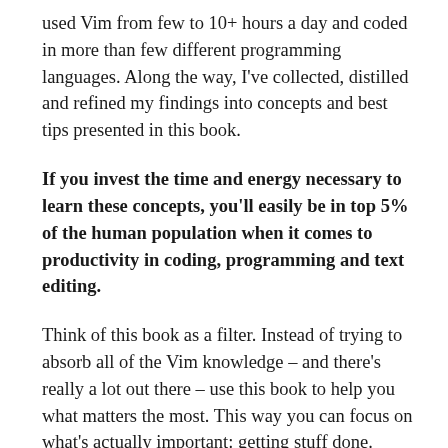used Vim from few to 10+ hours a day and coded in more than few different programming languages. Along the way, I've collected, distilled and refined my findings into concepts and best tips presented in this book.
If you invest the time and energy necessary to learn these concepts, you'll easily be in top 5% of the human population when it comes to productivity in coding, programming and text editing.
Think of this book as a filter. Instead of trying to absorb all of the Vim knowledge – and there's really a lot out there – use this book to help you what matters the most. This way you can focus on what's actually important: getting stuff done.